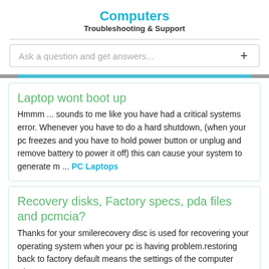Computers
Troubleshooting & Support
Ask a question and get answers...
Laptop wont boot up
Hmmm ... sounds to me like you have had a critical systems error. Whenever you have to do a hard shutdown, (when your pc freezes and you have to hold power button or unplug and remove battery to power it off) this can cause your system to generate m ... PC Laptops
Recovery disks, Factory specs, pda files and pcmcia?
Thanks for your smilerecovery disc is used for recovering your operating system when your pc is having problem.restoring back to factory default means the settings of the computer when you ...